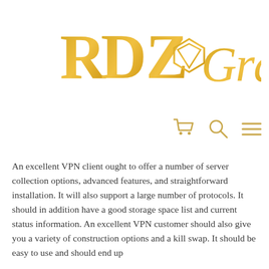[Figure (logo): RDZ Gray jewelry brand logo in gold color with decorative diamond/gem icon between the letters and the word Gray in cursive script]
[Figure (other): Navigation icons: shopping cart, search/magnifying glass, and hamburger menu lines, all in gold color]
An excellent VPN client ought to offer a number of server collection options, advanced features, and straightforward installation. It will also support a large number of protocols. It should in addition have a good storage space list and current status information. An excellent VPN customer should also give you a variety of construction options and a kill swap. It should be easy to use and should end up